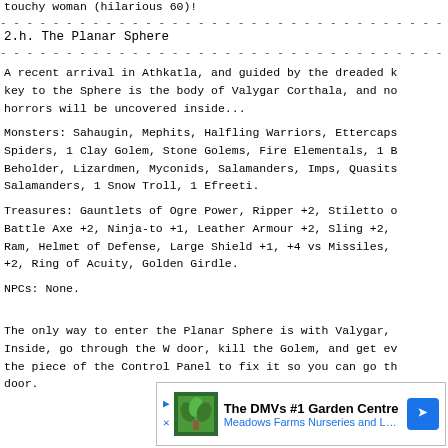touchy woman (hilarious 60)!
2.h. The Planar Sphere
A recent arrival in Athkatla, and guided by the dreaded k key to the Sphere is the body of Valygar Corthala, and no horrors will be uncovered inside...
Monsters: Sahaugin, Mephits, Halfling Warriors, Ettercaps Spiders, 1 Clay Golem, Stone Golems, Fire Elementals, 1 B Beholder, Lizardmen, Myconids, Salamanders, Imps, Quasits Salamanders, 1 Snow Troll, 1 Efreeti.
Treasures: Gauntlets of Ogre Power, Ripper +2, Stiletto o Battle Axe +2, Ninja-to +1, Leather Armour +2, Sling +2, Ram, Helmet of Defense, Large Shield +1, +4 vs Missiles, +2, Ring of Acuity, Golden Girdle.
NPCs: None.
The only way to enter the Planar Sphere is with Valygar, Inside, go through the W door, kill the Golem, and get ev the piece of the Control Panel to fix it so you can go th door.
[Figure (other): Advertisement banner for The DMVs #1 Garden Centre - Meadows Farms Nurseries and Landscape]